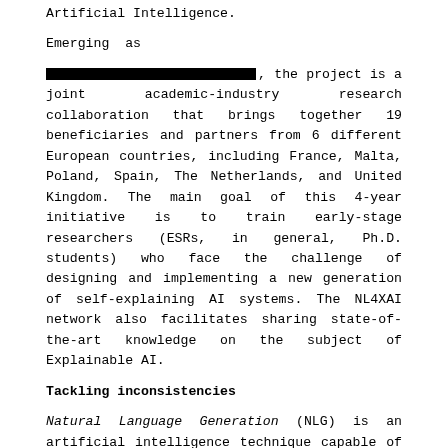Artificial Intelligence.
Emerging as
[redacted], the project is a joint academic-industry research collaboration that brings together 19 beneficiaries and partners from 6 different European countries, including France, Malta, Poland, Spain, The Netherlands, and United Kingdom. The main goal of this 4-year initiative is to train early-stage researchers (ESRs, in general, Ph.D. students) who face the challenge of designing and implementing a new generation of self-explaining AI systems. The NL4XAI network also facilitates sharing state-of-the-art knowledge on the subject of Explainable AI.
Tackling inconsistencies
Natural Language Generation (NLG) is an artificial intelligence technique capable of generating text from various types of input, such as numerical data, traces, text, or knowledge bases, and therefore providing a potentially powerful tool to explain the reasoning of AI models. However, the models used in these techniques are not error-free: before they can be used to explain the reasoning of AI models, they need to be further improved. In particular, it must be ensured that the text they generate is faithful to the input, that it covers all information present in the input, and conversely, that it does not contain content that is irrelevant or even contradictory to the input.
Along with this Spring School, the NL4XAI members will focus on explainable methods for Natural Language Generation (NLG), which aim to detect errors in the output of NLG models in order to explain